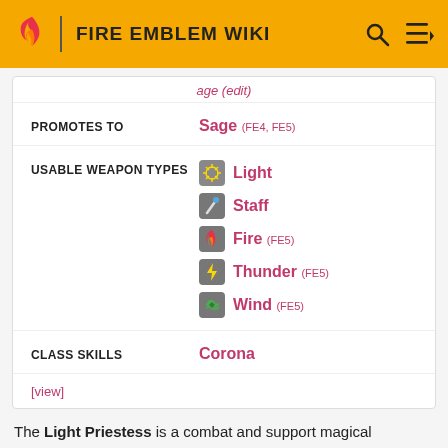FIRE EMBLEM WIKI
PROMOTES TO: Sage (FE4, FE5)
USABLE WEAPON TYPES: Light, Staff, Fire (FE5), Thunder (FE5), Wind (FE5)
CLASS SKILLS: Corona
[view]
The Light Priestess is a combat and support magical